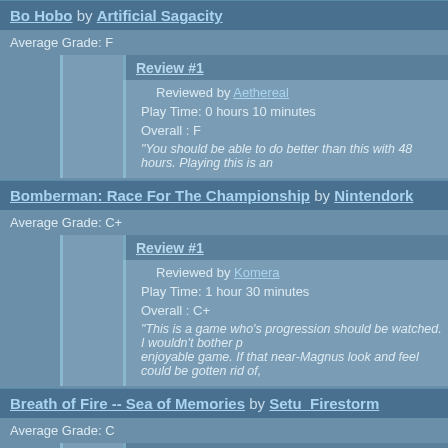Bo Hobo by Artificial Sagacity
Average Grade: F
Review #1
Reviewed by Aethereal
Play Time: 0 hours 10 minutes
Overall : F
"You should be able to do better than this with 48 hours. Playing this is an
Bomberman: Race For The Championship by Nintendork
Average Grade: C+
Review #1
Reviewed by Komera
Play Time: 1 hour 30 minutes
Overall : C+
"This is a game who's progression should be watched. I wouldn't bother p enjoyable game. If that near-Magnus look and feel could be gotten rid of,
Breath of Fire -- Sea of Memories by Setu_Firestorm
Average Grade: C
Review #1
Reviewed by LeRoy_Leo
Play Time: 0 hours 40 minutes
Overall : C
"Well done, Setu. This is a good way to ring in the re-opening of CP_n R